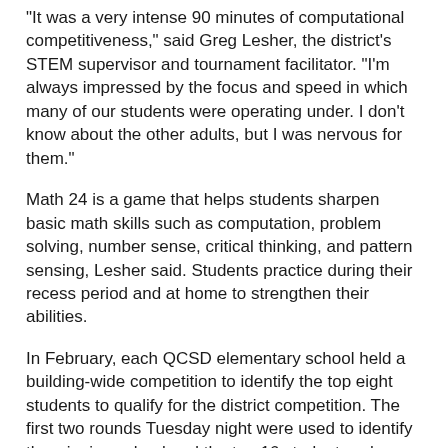“It was a very intense 90 minutes of computational competitiveness,” said Greg Lesher, the district’s STEM supervisor and tournament facilitator. “I’m always impressed by the focus and speed in which many of our students were operating under. I don’t know about the other adults, but I was nervous for them.”
Math 24 is a game that helps students sharpen basic math skills such as computation, problem solving, number sense, critical thinking, and pattern sensing, Lesher said. Students practice during their recess period and at home to strengthen their abilities.
In February, each QCSD elementary school held a building-wide competition to identify the top eight students to qualify for the district competition. The first two rounds Tuesday night were used to identify the winning school and the top 16 students, who advanced to the semifinal round.
The top four scores from the semifinal round made it to the finals. Sean was the highest scorer in the final round.